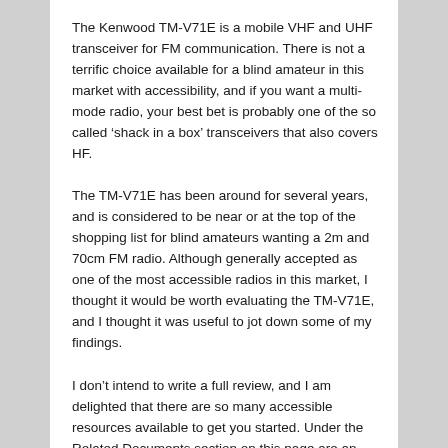The Kenwood TM-V71E is a mobile VHF and UHF transceiver for FM communication. There is not a terrific choice available for a blind amateur in this market with accessibility, and if you want a multi-mode radio, your best bet is probably one of the so called ‘shack in a box’ transceivers that also covers HF.
The TM-V71E has been around for several years, and is considered to be near or at the top of the shopping list for blind amateurs wanting a 2m and 70cm FM radio. Although generally accepted as one of the most accessible radios in this market, I thought it would be worth evaluating the TM-V71E, and I thought it was useful to jot down some of my findings.
I don’t intend to write a full review, and I am delighted that there are so many accessible resources available to get you started. Under the Related Documents section on this page are an MP3 review and demo by David 2M0TSR, the full manual recorded in MP3, and the full manual in